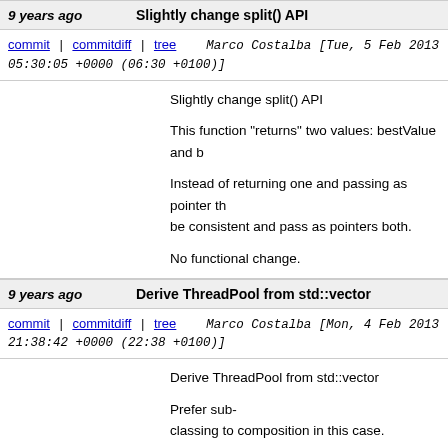9 years ago | Slightly change split() API
commit | commitdiff | tree   Marco Costalba [Tue, 5 Feb 2013 05:30:05 +0000 (06:30 +0100)]
Slightly change split() API

This function "returns" two values: bestValue and b

Instead of returning one and passing as pointer th be consistent and pass as pointers both.

No functional change.
9 years ago | Derive ThreadPool from std::vector
commit | commitdiff | tree   Marco Costalba [Mon, 4 Feb 2013 21:38:42 +0000 (22:38 +0100)]
Derive ThreadPool from std::vector

Prefer sub-
classing to composition in this case.

No functional change.
9 years ago | Move split() under Thread
commit | commitdiff | tree   Marco Costalba [Mon, 4 Feb 2013 21:09:52 +0000 (22:09 +0100)]